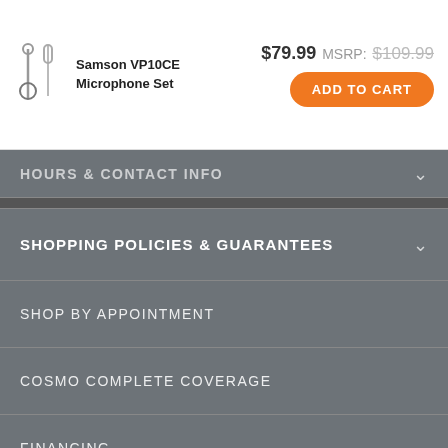[Figure (screenshot): Product image icon of Samson VP10CE Microphone Set — two microphone silhouettes in grey]
Samson VP10CE Microphone Set
$79.99 MSRP: $109.99
ADD TO CART
HOURS & CONTACT INFO
SHOPPING POLICIES & GUARANTEES
SHOP BY APPOINTMENT
COSMO COMPLETE COVERAGE
FINANCING
CAREER OPPORTUNITIES
WRITE A REVIEW